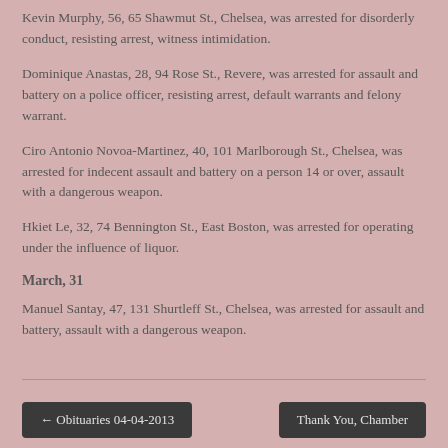Kevin Murphy, 56, 65 Shawmut St., Chelsea, was arrested for disorderly conduct, resisting arrest, witness intimidation.
Dominique Anastas, 28, 94 Rose St., Revere, was arrested for assault and battery on a police officer, resisting arrest, default warrants and felony warrant.
Ciro Antonio Novoa-Martinez, 40, 101 Marlborough St., Chelsea, was arrested for indecent assault and battery on a person 14 or over, assault with a dangerous weapon.
Hkiet Le, 32, 74 Bennington St., East Boston, was arrested for operating under the influence of liquor.
March, 31
Manuel Santay, 47, 131 Shurtleff St., Chelsea, was arrested for assault and battery, assault with a dangerous weapon.
← Obituaries 04-04-2013    Thank You, Chamber